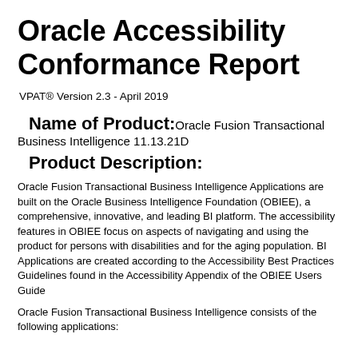Oracle Accessibility Conformance Report
VPAT® Version 2.3 - April 2019
Name of Product: Oracle Fusion Transactional Business Intelligence 11.13.21D
Product Description:
Oracle Fusion Transactional Business Intelligence Applications are built on the Oracle Business Intelligence Foundation (OBIEE), a comprehensive, innovative, and leading BI platform. The accessibility features in OBIEE focus on aspects of navigating and using the product for persons with disabilities and for the aging population. BI Applications are created according to the Accessibility Best Practices Guidelines found in the Accessibility Appendix of the OBIEE Users Guide
Oracle Fusion Transactional Business Intelligence consists of the following applications: